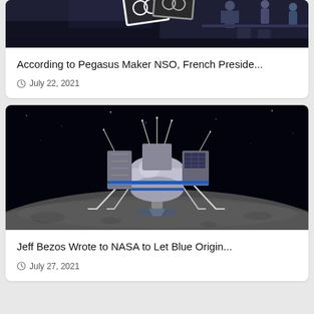[Figure (photo): Partial view of a conference or event scene with dark background, people, and a logo sign visible]
According to Pegasus Maker NSO, French Preside...
July 22, 2021
[Figure (photo): A Blue Origin lunar lander spacecraft on the surface of the moon, rendered in CGI with black space background]
Jeff Bezos Wrote to NASA to Let Blue Origin...
July 27, 2021